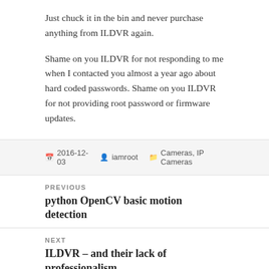Just chuck it in the bin and never purchase anything from ILDVR again.
Shame on you ILDVR for not responding to me when I contacted you almost a year ago about hard coded passwords. Shame on you ILDVR for not providing root password or firmware updates.
2016-12-03   iamroot   Cameras, IP Cameras
PREVIOUS
python OpenCV basic motion detection
NEXT
ILDVR – and their lack of professionalism